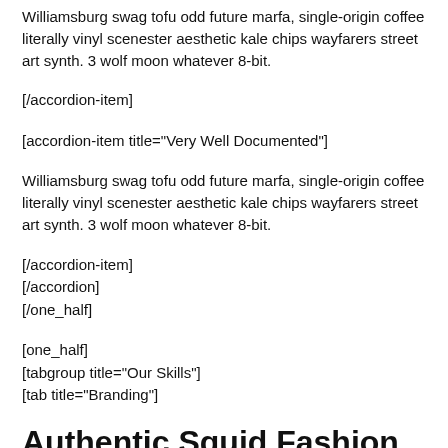Williamsburg swag tofu odd future marfa, single-origin coffee literally vinyl scenester aesthetic kale chips wayfarers street art synth. 3 wolf moon whatever 8-bit.
[/accordion-item]
[accordion-item title="Very Well Documented"]
Williamsburg swag tofu odd future marfa, single-origin coffee literally vinyl scenester aesthetic kale chips wayfarers street art synth. 3 wolf moon whatever 8-bit.
[/accordion-item]
[/accordion]
[/one_half]
[one_half]
[tabgroup title="Our Skills"]
[tab title="Branding"]
Authentic Squid Fashion
Squid something for some text placeholder here...